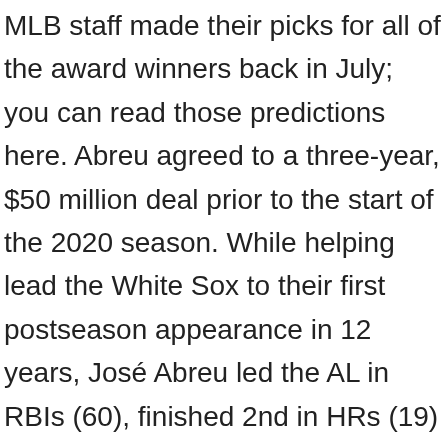MLB staff made their picks for all of the award winners back in July; you can read those predictions here. Abreu agreed to a three-year, $50 million deal prior to the start of the 2020 season. While helping lead the White Sox to their first postseason appearance in 12 years, José Abreu led the AL in RBIs (60), finished 2nd in HRs (19) and 4th in average (.317). Each day the announcement show will begin at 6 p.m. Due to the COVID-19 pandemic, the season was reduced to just 60 games.The full 162-game regular season was originally scheduled to begin on March 26. MLB Lead Writer September 28, 2020 Comments. MORE: MLB playoff bubbles, explained: A complete guide. Cash implemented 59 different batting orders in 60 games and tied an MLB record by using 12 different pitchers to record a save. CBS Sports is a registered